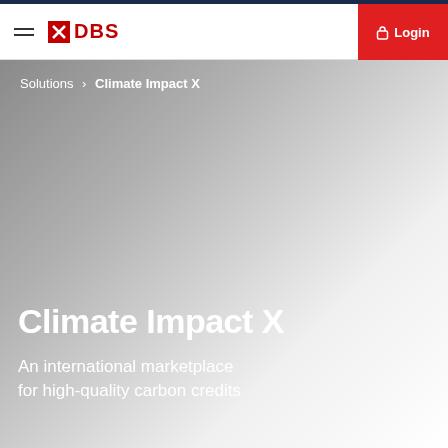DBS Bank — Navigation bar with hamburger menu, DBS logo, and Login button
Solutions > Climate Impact X
Climate Impact X
An international marketplace for high-quality carbon credits